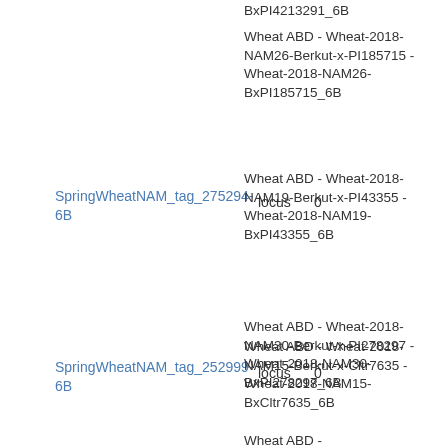BxPI4213291_6B
Wheat ABD - Wheat-2018-NAM26-Berkut-x-PI185715 - Wheat-2018-NAM26-BxPI185715_6B
SpringWheatNAM_tag_275294-6B
locus
0
Wheat ABD - Wheat-2018-NAM19-Berkut-x-PI43355 - Wheat-2018-NAM19-BxPI43355_6B
Wheat ABD - Wheat-2018-NAM30-Berkut-x-PI278297 - Wheat-2018-NAM30-BxPI278297_6B
SpringWheatNAM_tag_252999-6B
locus
0
Wheat ABD - Wheat-2018-NAM15-Berkut-x-Cltr7635 - Wheat-2018-NAM15-BxCltr7635_6B
Wheat ABD -